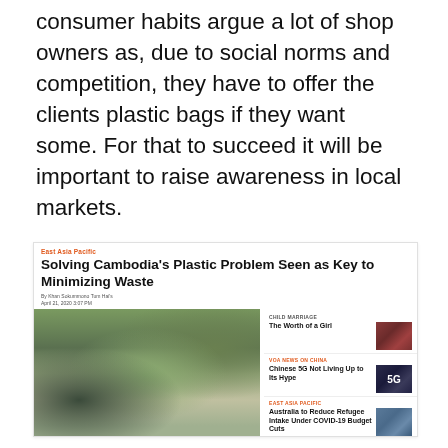consumer habits argue a lot of shop owners as, due to social norms and competition, they have to offer the clients plastic bags if they want some. For that to succeed it will be important to raise awareness in local markets.
[Figure (screenshot): Screenshot of a news website showing an article titled 'Solving Cambodia's Plastic Problem Seen as Key to Minimizing Waste' with a photo of a waste dump site, tagged under 'East Asia Pacific', with sidebar articles about Child Marriage, Chinese 5G, and Australia refugee intake.]